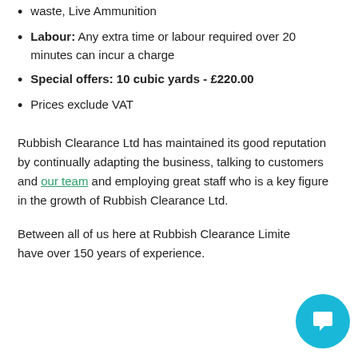waste, Live Ammunition
Labour: Any extra time or labour required over 20 minutes can incur a charge
Special offers: 10 cubic yards - £220.00
Prices exclude VAT
Rubbish Clearance Ltd has maintained its good reputation by continually adapting the business, talking to customers and our team and employing great staff who is a key figure in the growth of Rubbish Clearance Ltd.
Between all of us here at Rubbish Clearance Limited we have over 150 years of experience.